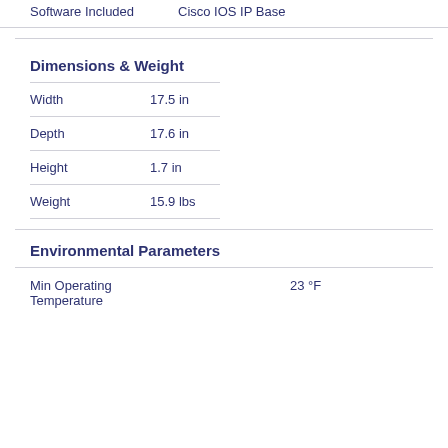| Property | Value |
| --- | --- |
| Software Included | Cisco IOS IP Base |
Dimensions & Weight
| Property | Value |
| --- | --- |
| Width | 17.5 in |
| Depth | 17.6 in |
| Height | 1.7 in |
| Weight | 15.9 lbs |
Environmental Parameters
| Property | Value |
| --- | --- |
| Min Operating Temperature | 23 °F |